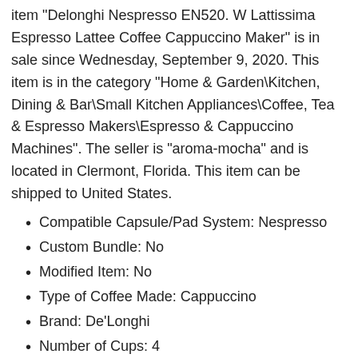item "Delonghi Nespresso EN520. W Lattissima Espresso Lattee Coffee Cappuccino Maker" is in sale since Wednesday, September 9, 2020. This item is in the category "Home & Garden\Kitchen, Dining & Bar\Small Kitchen Appliances\Coffee, Tea & Espresso Makers\Espresso & Cappuccino Machines". The seller is "aroma-mocha" and is located in Clermont, Florida. This item can be shipped to United States.
Compatible Capsule/Pad System: Nespresso
Custom Bundle: No
Modified Item: No
Type of Coffee Made: Cappuccino
Brand: De'Longhi
Number of Cups: 4
Power: 1200 W
Color: Silver
Features: Frother
Type: Espresso Machine